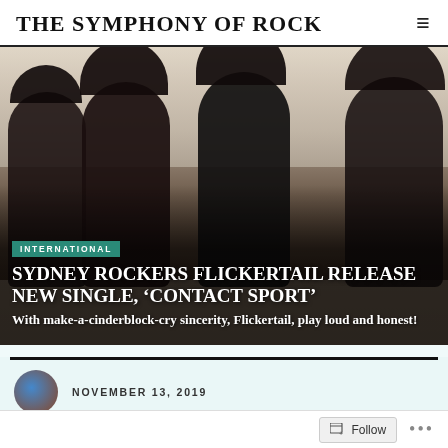THE SYMPHONY OF ROCK
[Figure (photo): Four young band members (Sydney rockers Flickertail) seated against a light wall, all wearing dark clothing, with dark curly/long hair. Photo overlaid with category badge and headline text.]
INTERNATIONAL
SYDNEY ROCKERS FLICKERTAIL RELEASE NEW SINGLE, ‘CONTACT SPORT’
With make-a-cinderblock-cry sincerity, Flickertail, play loud and honest!
NOVEMBER 13, 2019